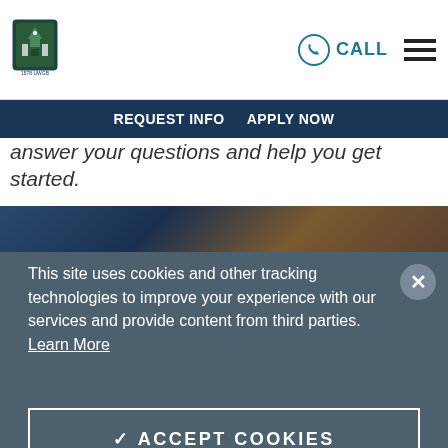[Figure (logo): University shield/crest logo in blue and green]
REQUEST INFO   APPLY NOW
answer your questions and help you get started.
[Figure (photo): Dark blue and brown architectural image strip]
This site uses cookies and other tracking technologies to improve your experience with our services and provide content from third parties. Learn More
✓ ACCEPT COOKIES
❯ COOKIE SETTINGS